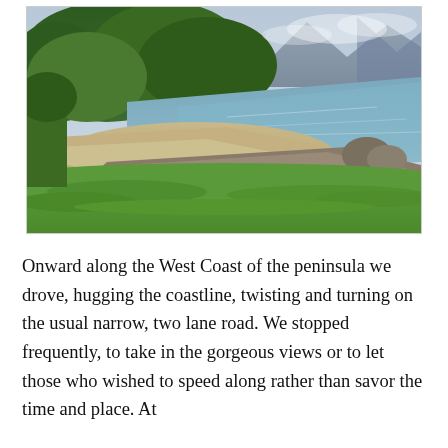[Figure (photo): Coastal beach scene with sandy shore, pebble beach, calm bay water, green forested hills, and mountains in background under overcast sky. Green grass lawn in foreground.]
Onward along the West Coast of the peninsula we drove, hugging the coastline, twisting and turning on the usual narrow, two lane road. We stopped frequently, to take in the gorgeous views or to let those who wished to speed along rather than savor the time and place. At